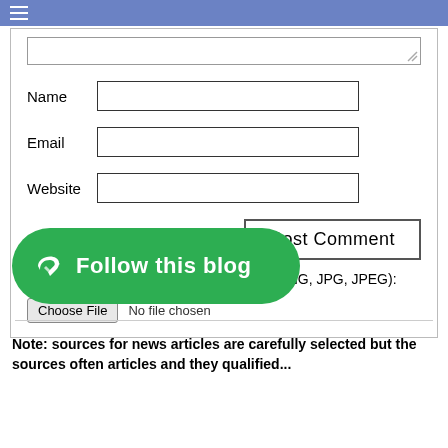☰
[Figure (screenshot): Comment form with textarea stub, Name field, Email field, Website field, Post Comment button, and Choose File input]
[Figure (other): Green rounded Follow this blog button with arrow icon]
Note: sources for news articles are carefully selected but the sources often articles and they qualified...